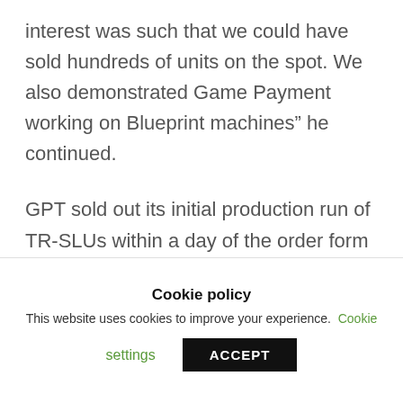interest was such that we could have sold hundreds of units on the spot. We also demonstrated Game Payment working on Blueprint machines” he continued.
GPT sold out its initial production run of TR-SLUs within a day of the order form going live. However, Game Payment has secured further supplies of the key semiconductor
Cookie policy
This website uses cookies to improve your experience. Cookie settings
ACCEPT